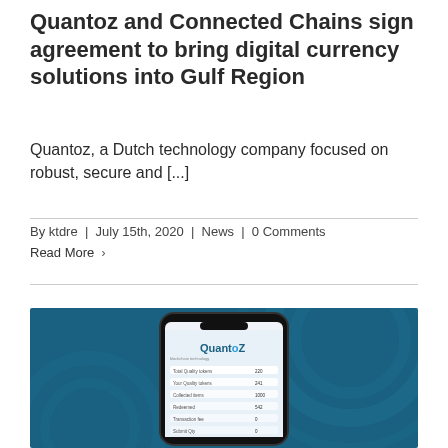Quantoz and Connected Chains sign agreement to bring digital currency solutions into Gulf Region
Quantoz, a Dutch technology company focused on robust, secure and [...]
By ktdre | July 15th, 2020 | News | 0 Comments
Read More >
[Figure (photo): A smartphone displaying the Quantoz app interface showing digital wallet/currency information, placed against a dark teal/blue background with subtle circular design elements.]